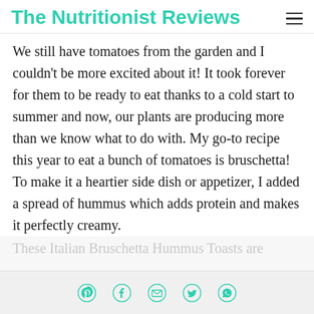The Nutritionist Reviews
We still have tomatoes from the garden and I couldn't be more excited about it! It took forever for them to be ready to eat thanks to a cold start to summer and now, our plants are producing more than we know what to do with. My go-to recipe this year to eat a bunch of tomatoes is bruschetta! To make it a heartier side dish or appetizer, I added a spread of hummus which adds protein and makes it perfectly creamy.
These Italian Bruschetta Hummus Toasts are
Social share icons: Pinterest, Facebook, Email, Twitter, WhatsApp